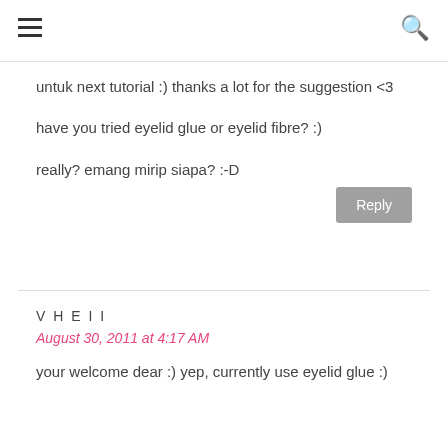☰ 🔍
untuk next tutorial :) thanks a lot for the suggestion <3
have you tried eyelid glue or eyelid fibre? :)
really? emang mirip siapa? :-D
Reply
VHEII
August 30, 2011 at 4:17 AM
your welcome dear :) yep, currently use eyelid glue :)